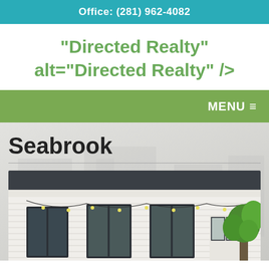Office: (281) 962-4082
"Directed Realty" alt="Directed Realty" />
MENU ≡
Seabrook
[Figure (photo): Exterior photo of a white house with dark windows and string lights hanging across the front porch, with a large green leafy plant on the right side]